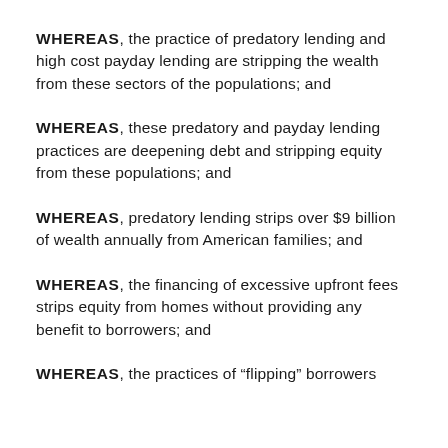WHEREAS, the practice of predatory lending and high cost payday lending are stripping the wealth from these sectors of the populations; and
WHEREAS, these predatory and payday lending practices are deepening debt and stripping equity from these populations; and
WHEREAS, predatory lending strips over $9 billion of wealth annually from American families; and
WHEREAS, the financing of excessive upfront fees strips equity from homes without providing any benefit to borrowers; and
WHEREAS, the practices of “flipping” borrowers